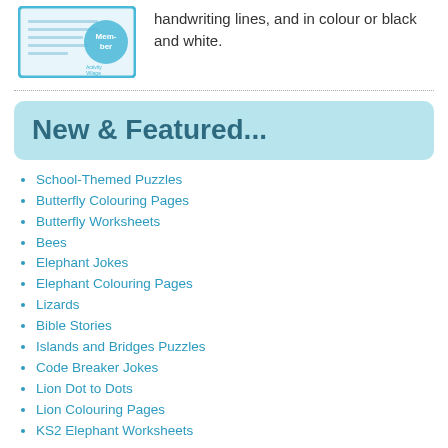[Figure (illustration): A worksheet or membership card graphic with a blue border and handwriting lines, with a stamp/badge saying 'Member']
handwriting lines, and in colour or black and white.
New & Featured...
School-Themed Puzzles
Butterfly Colouring Pages
Butterfly Worksheets
Bees
Elephant Jokes
Elephant Colouring Pages
Lizards
Bible Stories
Islands and Bridges Puzzles
Code Breaker Jokes
Lion Dot to Dots
Lion Colouring Pages
KS2 Elephant Worksheets